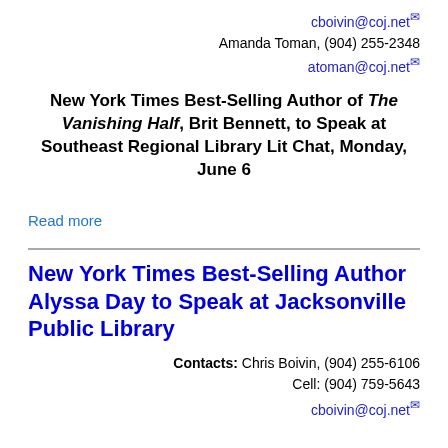cboivin@coj.net
Amanda Toman, (904) 255-2348
atoman@coj.net
New York Times Best-Selling Author of The Vanishing Half, Brit Bennett, to Speak at Southeast Regional Library Lit Chat, Monday, June 6
Read more
New York Times Best-Selling Author Alyssa Day to Speak at Jacksonville Public Library
Contacts: Chris Boivin, (904) 255-6106
Cell: (904) 759-5643
cboivin@coj.net